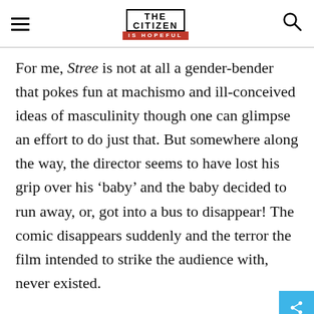THE CITIZEN IS HOPEFUL
For me, Stree is not at all a gender-bender that pokes fun at machismo and ill-conceived ideas of masculinity though one can glimpse an effort to do just that. But somewhere along the way, the director seems to have lost his grip over his ‘baby’ and the baby decided to run away, or, got into a bus to disappear! The comic disappears suddenly and the terror the film intended to strike the audience with, never existed.
The ghost, in films and in real life, is a charismatic enigma for all of us. The very intrigue it raises in our mindsets, making us vacillate between belief and